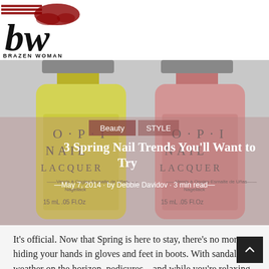[Figure (logo): Brazen Woman blog logo with stylized 'bw' letters and red/black graphic elements]
BRAZEN WOMAN
[Figure (photo): Two OPI Nail Lacquer bottles side by side — one yellow-green and one pink/salmon — with overlaid navigation tabs (Beauty, STYLE), article title, and byline]
3 Spring Nail Trends You'll Want to Try
May 7, 2014 · by Debbie Davidov · 3 min read
It's official. Now that Spring is here to stay, there's no more hiding your hands in gloves and feet in boots. With sandal weather on the horizon, pedicures – and while you're relaxing in that chair, manicures – are a fashion must. Are you one of those who hems and haws at the colours on the shelf and makes the rest of us wait? There's no doub